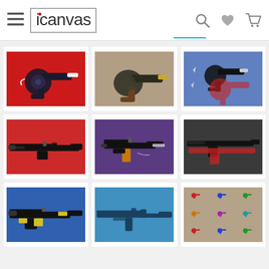icanvas — navigation header with search, wishlist, cart icons
[Figure (screenshot): iCanvas website product grid showing 9 canvas art prints of guns/firearms in various pop-art styles]
[Figure (illustration): Dark blue/black revolver on red background - pop art canvas print]
[Figure (illustration): Dark revolver with brown handle on grunge/vintage textured background]
[Figure (illustration): Blue and red double revolver pop art on blue background]
[Figure (illustration): M16 assault rifle on red background pop art canvas]
[Figure (illustration): Uzi submachine gun in black and orange on purple background pop art]
[Figure (illustration): AK-47 style rifles in red and black on dark grey background]
[Figure (illustration): MP5 submachine gun in black and yellow on blue background]
[Figure (illustration): Sniper rifle in teal/blue tones on blue background]
[Figure (illustration): Grid of 9 small colorful revolvers (red, blue, green) on grunge background]